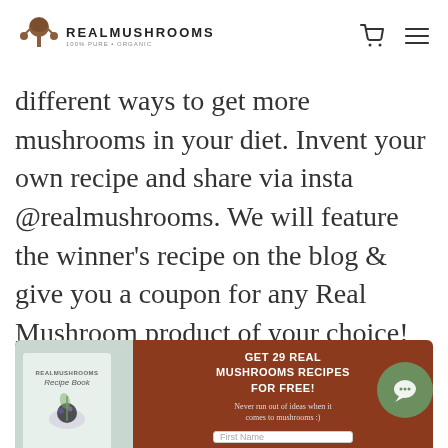Real Mushrooms – 100% Pure + Organic
different ways to get more mushrooms in your diet. Invent your own recipe and share via insta @realmushrooms. We will feature the winner's recipe on the blog & give you a coupon for any Real Mushroom product of your choice!
Shop Mushrooms!
[Figure (infographic): Brown promotional banner with a recipe book image on the left and text on the right reading 'GET 29 REAL MUSHROOMS RECIPES FOR FREE! Never run out of ideas when it comes to mushrooms :)' with a First Name input field below.]